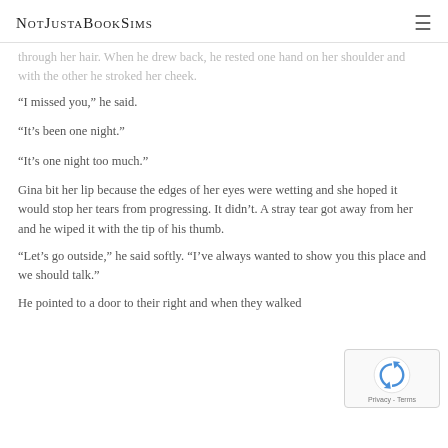NotJustaBookSims
through her hair. When he drew back, he rested one hand on her shoulder and with the other he stroked her cheek.
“I missed you,” he said.
“It’s been one night.”
“It’s one night too much.”
Gina bit her lip because the edges of her eyes were wetting and she hoped it would stop her tears from progressing. It didn’t. A stray tear got away from her and he wiped it with the tip of his thumb.
“Let’s go outside,” he said softly. “I’ve always wanted to show you this place and we should talk.”
He pointed to a door to their right and when they walked